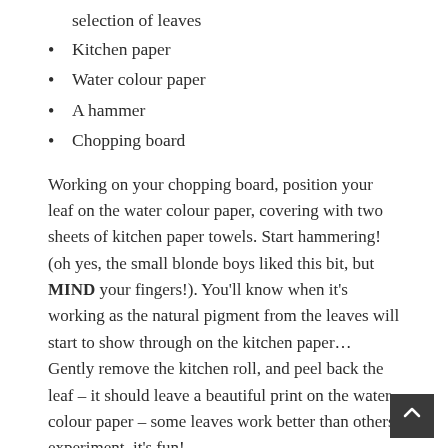selection of leaves
Kitchen paper
Water colour paper
A hammer
Chopping board
Working on your chopping board, position your leaf on the water colour paper, covering with two sheets of kitchen paper towels. Start hammering! (oh yes, the small blonde boys liked this bit, but MIND your fingers!). You'll know when it's working as the natural pigment from the leaves will start to show through on the kitchen paper… Gently remove the kitchen roll, and peel back the leaf – it should leave a beautiful print on the water colour paper – some leaves work better than others, experiment, it's fun!